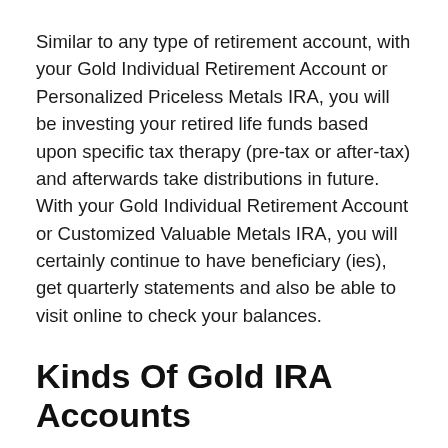Similar to any type of retirement account, with your Gold Individual Retirement Account or Personalized Priceless Metals IRA, you will be investing your retired life funds based upon specific tax therapy (pre-tax or after-tax) and afterwards take distributions in future. With your Gold Individual Retirement Account or Customized Valuable Metals IRA, you will certainly continue to have beneficiary (ies), get quarterly statements and also be able to visit online to check your balances.
Kinds Of Gold IRA Accounts
As with conventional pension, there are few kinds of accounts that each provide unique